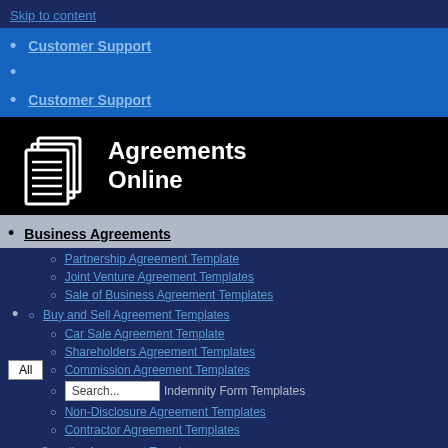Skip to content
Customer Support
Customer Support
[Figure (logo): Agreements Online logo with document icon on black background]
Business Agreements
Partnership Agreement Template
Joint Venture Agreement Templates
Sale of Business Agreement Templates
Buy and Sell Agreement Templates
Car Sale Agreement Template
Shareholders Agreement Templates
Commission Agreement Templates
Indemnity Form Templates
Non-Disclosure Agreement Templates
Contractor Agreement Templates
Supplier Agreement Templates
Health & Safety Policy Templates
Franchise Agreement Templates